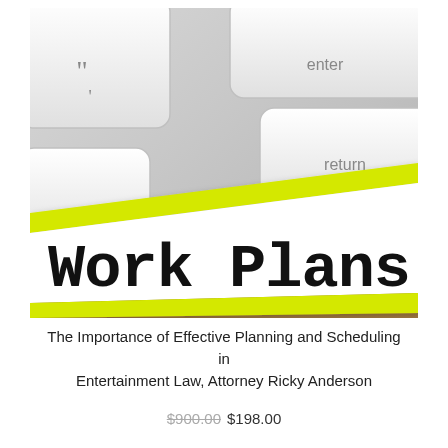[Figure (photo): Photo of a white keyboard with an 'enter' and 'return' key visible, with a yellow-bordered file folder tab labeled 'Work Plans' in bold black serif text leaning against the keyboard on a cork/cardboard surface.]
The Importance of Effective Planning and Scheduling in Entertainment Law, Attorney Ricky Anderson
$900.00 $198.00